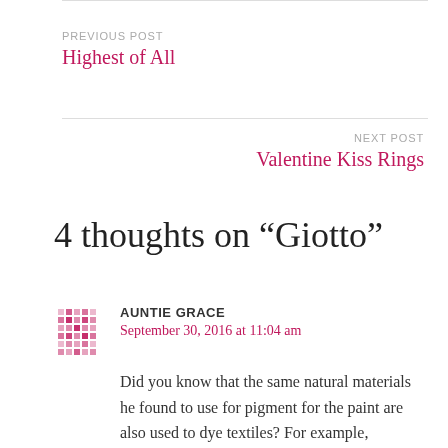PREVIOUS POST
Highest of All
NEXT POST
Valentine Kiss Rings
4 thoughts on “Giotto”
AUNTIE GRACE
September 30, 2016 at 11:04 am
Did you know that the same natural materials he found to use for pigment for the paint are also used to dye textiles? For example, cochineal is still used today as a